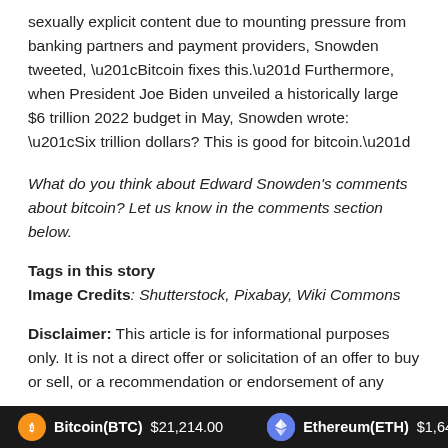sexually explicit content due to mounting pressure from banking partners and payment providers, Snowden tweeted, “Bitcoin fixes this.” Furthermore, when President Joe Biden unveiled a historically large $6 trillion 2022 budget in May, Snowden wrote: “Six trillion dollars? This is good for bitcoin.”
What do you think about Edward Snowden’s comments about bitcoin? Let us know in the comments section below.
Tags in this story
Image Credits: Shutterstock, Pixabay, Wiki Commons
Disclaimer: This article is for informational purposes only. It is not a direct offer or solicitation of an offer to buy or sell, or a recommendation or endorsement of any
Bitcoin(BTC) $21,214.00   Ethereum(ETH) $1,643.81   XRP